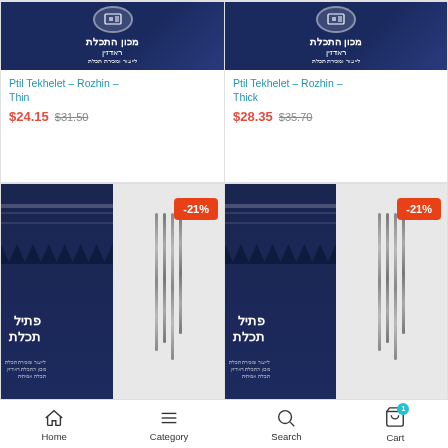[Figure (photo): Product image for Ptil Tekhelet Rozhin Thin - blue box with Hebrew text and logo]
Ptil Tekhelet – Rozhin – Thin
$24.15  $31.50
[Figure (photo): Product image for Ptil Tekhelet Rozhin Thick - blue box with Hebrew text and logo]
Ptil Tekhelet – Rozhin – Thick
$28.35  $35.70
[Figure (photo): Tallit and tzitzit product photo with -21% discount badge]
[Figure (photo): Tallit and tzitzit product photo with -21% discount badge]
Home  Category  Search  Cart